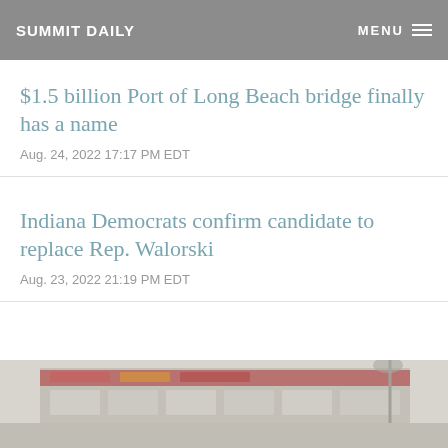Summit Daily | MENU
$1.5 billion Port of Long Beach bridge finally has a name
Aug. 24, 2022 17:17 PM EDT
Indiana Democrats confirm candidate to replace Rep. Walorski
Aug. 23, 2022 21:19 PM EDT
[Figure (photo): Storefront or commercial building exterior photo, partially visible at bottom of page]